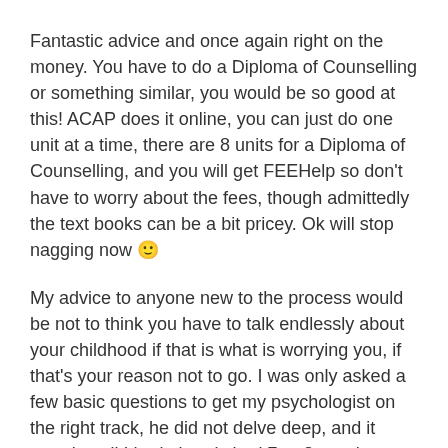Fantastic advice and once again right on the money. You have to do a Diploma of Counselling or something similar, you would be so good at this! ACAP does it online, you can just do one unit at a time, there are 8 units for a Diploma of Counselling, and you will get FEEHelp so don't have to worry about the fees, though admittedly the text books can be a bit pricey. Ok will stop nagging now 🙂
My advice to anyone new to the process would be not to think you have to talk endlessly about your childhood if that is what is worrying you, if that's your reason not to go. I was only asked a few basic questions to get my psychologist on the right track, he did not delve deep, and it wasn't until I had already had 7 or 8 sessions that we got deeper into childhood stuff. And even then I didn't have to if I wasn't ready. I was really afraid of opening that can of worms, and it held me back for years, needlessly.